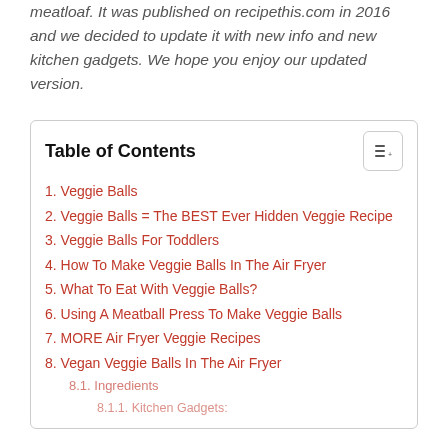meatloaf. It was published on recipethis.com in 2016 and we decided to update it with new info and new kitchen gadgets. We hope you enjoy our updated version.
Table of Contents
1. Veggie Balls
2. Veggie Balls = The BEST Ever Hidden Veggie Recipe
3. Veggie Balls For Toddlers
4. How To Make Veggie Balls In The Air Fryer
5. What To Eat With Veggie Balls?
6. Using A Meatball Press To Make Veggie Balls
7. MORE Air Fryer Veggie Recipes
8. Vegan Veggie Balls In The Air Fryer
8.1. Ingredients
8.1.1. Kitchen Gadgets: